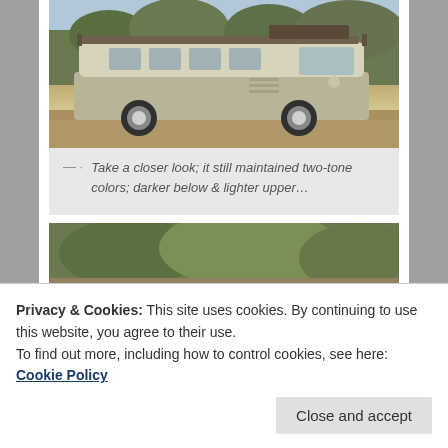[Figure (photo): A vintage cream/beige VW Bus (Volkswagen Type 2) parked on a dirt road with dry grass and trees in the background. The van has a roof rack with luggage on top and custom wheels. The vehicle shows two-tone coloring, darker below and lighter upper.]
— · Take a closer look; it still maintained two-tone colors; darker below & lighter upper…
[Figure (photo): Partial view of another outdoor scene with green foliage, partially obscured by the cookie banner overlay.]
Privacy & Cookies: This site uses cookies. By continuing to use this website, you agree to their use.
To find out more, including how to control cookies, see here: Cookie Policy